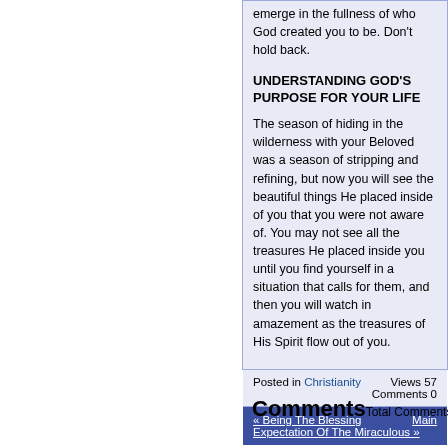emerge in the fullness of who God created you to be. Don't hold back.
UNDERSTANDING GOD'S PURPOSE FOR YOUR LIFE
The season of hiding in the wilderness with your Beloved was a season of stripping and refining, but now you will see the beautiful things He placed inside of you that you were not aware of. You may not see all the treasures He placed inside you until you find yourself in a situation that calls for them, and then you will watch in amazement as the treasures of His Spirit flow out of you.
Posted in Christianity    Views 57   Comments 0
« Being The Blessing    Main   Expectation Of The Miraculous »
Comments
Total Comments 0